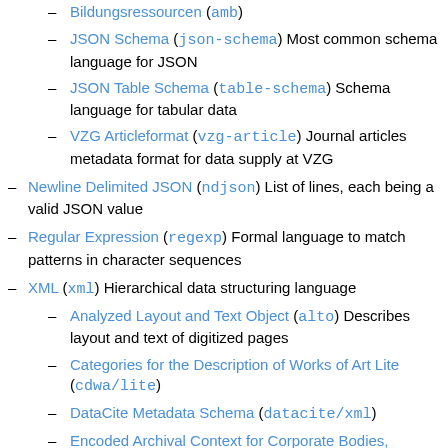Bildungsressourcen (amb)
JSON Schema (json-schema) Most common schema language for JSON
JSON Table Schema (table-schema) Schema language for tabular data
VZG Articleformat (vzg-article) Journal articles metadata format for data supply at VZG
Newline Delimited JSON (ndjson) List of lines, each being a valid JSON value
Regular Expression (regexp) Formal language to match patterns in character sequences
XML (xml) Hierarchical data structuring language
Analyzed Layout and Text Object (alto) Describes layout and text of digitized pages
Categories for the Description of Works of Art Lite (cdwa/lite)
DataCite Metadata Schema (datacite/xml)
Encoded Archival Context for Corporate Bodies, Persons, and Families (eac-cpf)
Encoded Archival Description (ead)